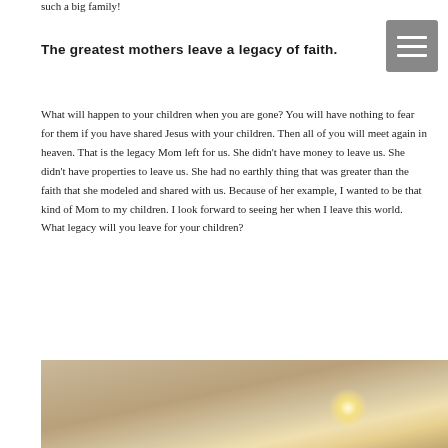such a big family!
The greatest mothers leave a legacy of faith.
What will happen to your children when you are gone? You will have nothing to fear for them if you have shared Jesus with your children. Then all of you will meet again in heaven. That is the legacy Mom left for us. She didn't have money to leave us. She didn't have properties to leave us. She had no earthly thing that was greater than the faith that she modeled and shared with us. Because of her example, I wanted to be that kind of Mom to my children. I look forward to seeing her when I leave this world. What legacy will you leave for your children?
[Figure (photo): Warm golden-toned bokeh photograph of a blurry outdoor scene with glowing light spots, warm sandy/beige tones suggesting a sunset or reflective surface.]